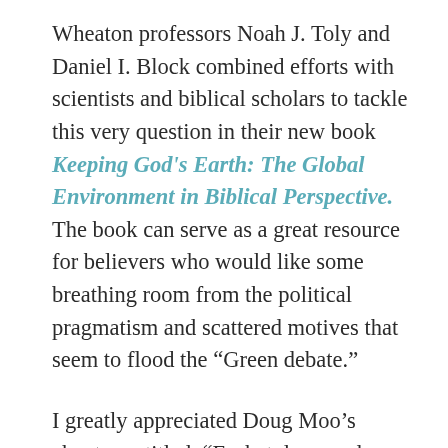Wheaton professors Noah J. Toly and Daniel I. Block combined efforts with scientists and biblical scholars to tackle this very question in their new book Keeping God's Earth: The Global Environment in Biblical Perspective. The book can serve as a great resource for believers who would like some breathing room from the political pragmatism and scattered motives that seem to flood the “Green debate.”
I greatly appreciated Doug Moo’s chapter entitled, “Eschatology and Environmental Ethics: On the Importance of Biblical Theology to Creation Care.”  Examining